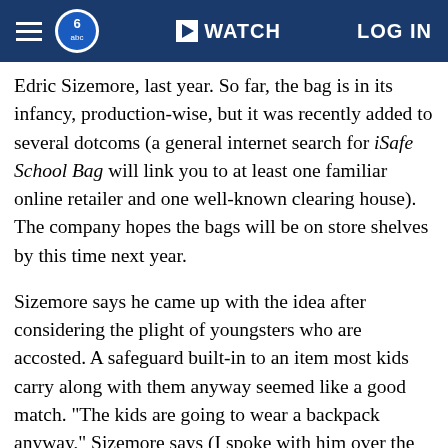WATCH  LOG IN
Edric Sizemore, last year. So far, the bag is in its infancy, production-wise, but it was recently added to several dotcoms (a general internet search for iSafe School Bag will link you to at least one familiar online retailer and one well-known clearing house). The company hopes the bags will be on store shelves by this time next year.
Sizemore says he came up with the idea after considering the plight of youngsters who are accosted. A safeguard built-in to an item most kids carry along with them anyway seemed like a good match. "The kids are going to wear a backpack anyway," Sizemore says (I spoke with him over the phone recently from his Elk Grove Village, Illinois, headquarters. "In a bullying scenario or other harmful situation, it's better to have something than nothing."